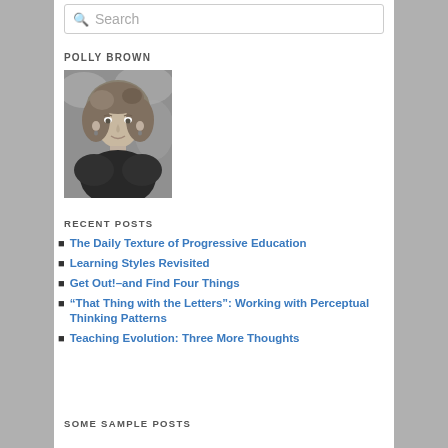Search
POLLY BROWN
[Figure (photo): Black and white portrait photo of Polly Brown, a woman with curly/wavy hair, smiling slightly, wearing dark clothing]
RECENT POSTS
The Daily Texture of Progressive Education
Learning Styles Revisited
Get Out!–and Find Four Things
“That Thing with the Letters”: Working with Perceptual Thinking Patterns
Teaching Evolution: Three More Thoughts
SOME SAMPLE POSTS